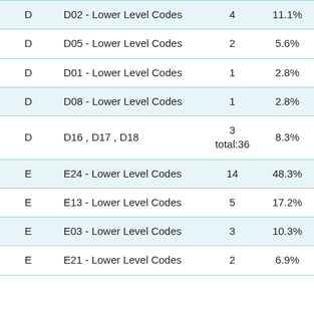|  |  |  |  |
| --- | --- | --- | --- |
| D | D02 - Lower Level Codes | 4 | 11.1% |
| D | D05 - Lower Level Codes | 2 | 5.6% |
| D | D01 - Lower Level Codes | 1 | 2.8% |
| D | D08 - Lower Level Codes | 1 | 2.8% |
| D | D16 , D17 , D18 | 3
total:36 | 8.3% |
| E | E24 - Lower Level Codes | 14 | 48.3% |
| E | E13 - Lower Level Codes | 5 | 17.2% |
| E | E03 - Lower Level Codes | 3 | 10.3% |
| E | E21 - Lower Level Codes | 2 | 6.9% |